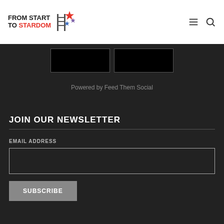FROM START TO STARDOM
[Figure (other): Two black image placeholders in a dark bar area]
Powered by Feed Them Social
JOIN OUR NEWSLETTER
EMAIL ADDRESS
SUBSCRIBE